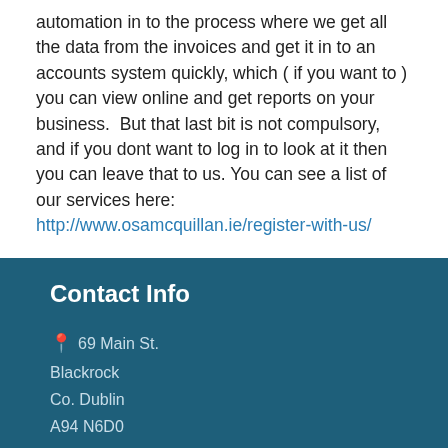automation in to the process where we get all the data from the invoices and get it in to an accounts system quickly, which ( if you want to ) you can view online and get reports on your business.  But that last bit is not compulsory, and if you dont want to log in to look at it then you can leave that to us. You can see a list of our services here: http://www.osamcquillan.ie/register-with-us/
Contact Info
69 Main St.
Blackrock
Co. Dublin
A94 N6D0
Email